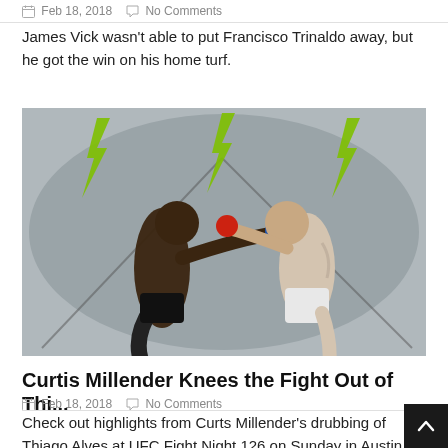Feb 18, 2018  No Comments
James Vick wasn't able to put Francisco Trinaldo away, but he got the win on his home turf.
[Figure (photo): Aerial/overhead view of two UFC fighters exchanging strikes inside the octagon, with Monster Energy logos visible on the cage wall. One fighter in dark shorts is delivering a knee, opponent in light shorts is staggered.]
Curtis Millender Knees the Fight Out of Thi...
Feb 18, 2018  No Comments
Check out highlights from Curts Millender's drubbing of Thiago Alves at UFC Fight Night 126 on Sunday in Austin, Texas.